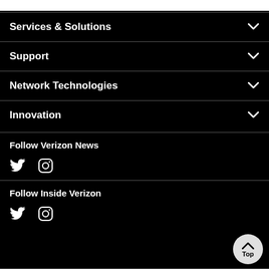Services & Solutions
Support
Network Technologies
Innovation
Follow Verizon News
[Figure (illustration): Twitter and Instagram social media icons for Follow Verizon News]
Follow Inside Verizon
[Figure (illustration): Twitter and Instagram social media icons for Follow Inside Verizon]